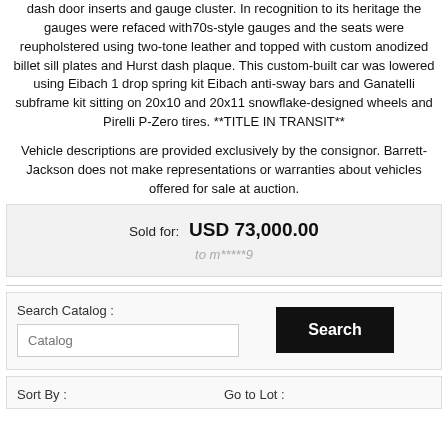Being the first of its kind the interior was re-imagined with a carbon fiber dash door inserts and gauge cluster. In recognition to its heritage the gauges were refaced with70s-style gauges and the seats were reupholstered using two-tone leather and topped with custom anodized billet sill plates and Hurst dash plaque. This custom-built car was lowered using Eibach 1 drop spring kit Eibach anti-sway bars and Ganatelli subframe kit sitting on 20x10 and 20x11 snowflake-designed wheels and Pirelli P-Zero tires. **TITLE IN TRANSIT**
Vehicle descriptions are provided exclusively by the consignor. Barrett-Jackson does not make representations or warranties about vehicles offered for sale at auction.
| Sold for: | USD 73,000.00 |
|  | to m*****9 |
Search Catalog :
Sort By :
Go to Lot :